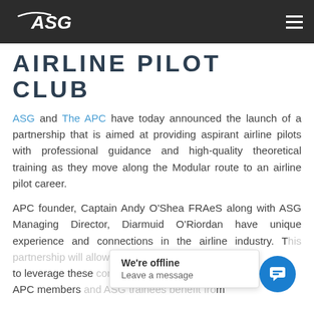ASG [logo] — navigation menu
AIRLINE PILOT CLUB
ASG and The APC have today announced the launch of a partnership that is aimed at providing aspirant airline pilots with professional guidance and high-quality theoretical training as they move along the Modular route to an airline pilot career.
APC founder, Captain Andy O'Shea FRAeS along with ASG Managing Director, Diarmuid O'Riordan have unique experience and connections in the airline industry. This partnership will allow them to leverage these connections to ensure both APC members and ASG trainees benefit from